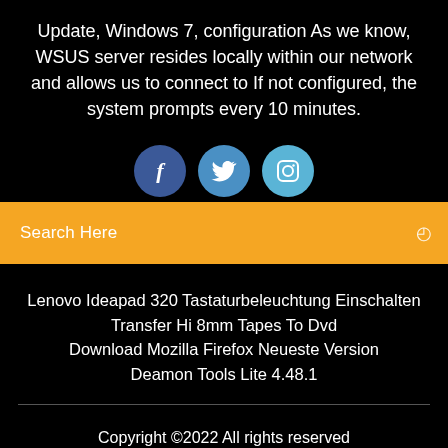Update, Windows 7, configuration As we know, WSUS server resides locally within our network and allows us to connect to If not configured, the system prompts every 10 minutes.
[Figure (illustration): Three social media icon circles: Facebook (dark blue), Twitter (medium blue), Instagram (light blue), partially cropped at bottom]
[Figure (screenshot): Orange search bar with text 'Search Here' on the left and a small search icon on the right]
Lenovo Ideapad 320 Tastaturbeleuchtung Einschalten
Transfer Hi 8mm Tapes To Dvd
Download Mozilla Firefox Neueste Version
Deamon Tools Lite 4.48.1
Copyright ©2022 All rights reserved